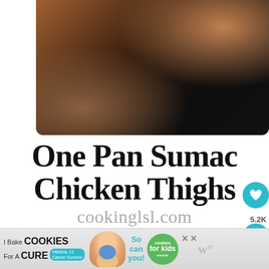[Figure (photo): Top-down view of a dark cast iron skillet with cooked chicken thighs, on a wooden surface background]
One Pan Sumac Chicken Thighs
cookinglsl.com
[Figure (photo): Bottom portion showing dark plates and green herbs on a wooden surface]
[Figure (screenshot): Advertisement banner: I Bake COOKIES For A CURE - So can you! - cookies for kids cancer, with a girl named Heidora, 11 Cancer Survivor]